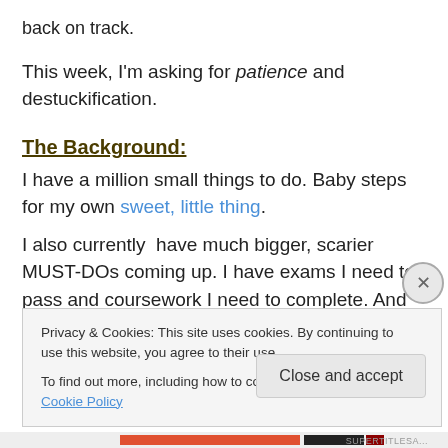back on track.
This week, I'm asking for patience and destuckification.
The Background:
I have a million small things to do. Baby steps for my own sweet, little thing.
I also currently  have much bigger, scarier MUST-DOs coming up. I have exams I need to pass and coursework I need to complete. And because of those things; the very idea of stopping to work on a little thing sparks guilt and worry. I am currently a big ball of anxious.
Privacy & Cookies: This site uses cookies. By continuing to use this website, you agree to their use.
To find out more, including how to control cookies, see here: Cookie Policy
Close and accept